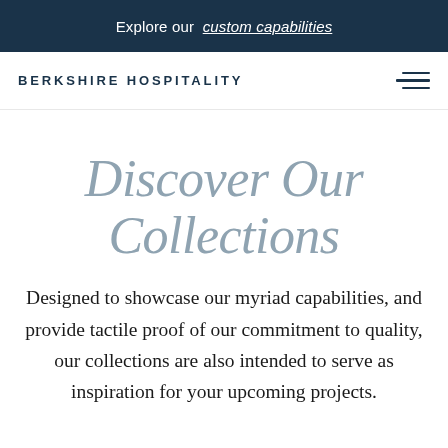Explore our custom capabilities
BERKSHIRE HOSPITALITY
Discover Our Collections
Designed to showcase our myriad capabilities, and provide tactile proof of our commitment to quality, our collections are also intended to serve as inspiration for your upcoming projects.